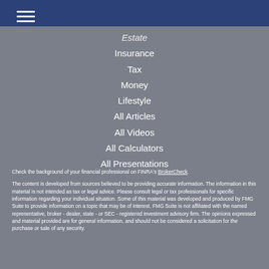≡ (navigation menu icon)
Estate
Insurance
Tax
Money
Lifestyle
All Articles
All Videos
All Calculators
All Presentations
Check the background of your financial professional on FINRA's BrokerCheck.
The content is developed from sources believed to be providing accurate information. The information in this material is not intended as tax or legal advice. Please consult legal or tax professionals for specific information regarding your individual situation. Some of this material was developed and produced by FMG Suite to provide information on a topic that may be of interest. FMG Suite is not affiliated with the named representative, broker - dealer, state - or SEC - registered investment advisory firm. The opinions expressed and material provided are for general information, and should not be considered a solicitation for the purchase or sale of any security.